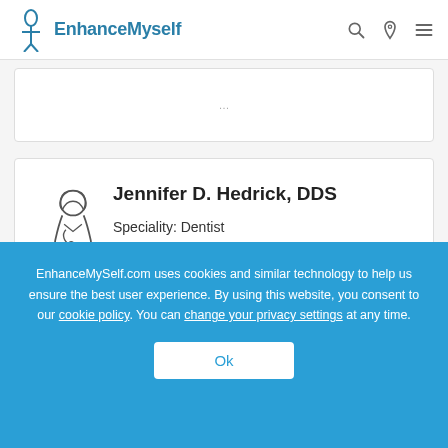EnhanceMyself
Jennifer D. Hedrick, DDS
Speciality: Dentist
12221 Merit Dr Ste 470, Dallas, TX, 75251
(972) 628-6440
EnhanceMyself.com uses cookies and similar technology to help us ensure the best user experience. By using this website, you consent to our cookie policy. You can change your privacy settings at any time.